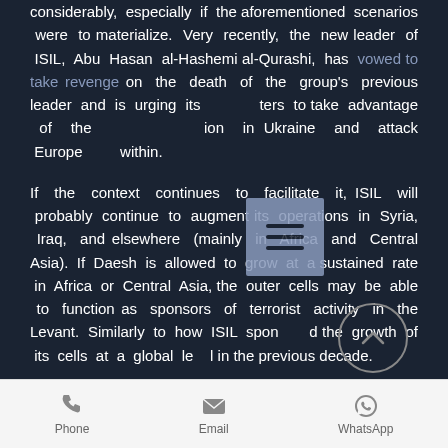considerably, especially if the aforementioned scenarios were to materialize. Very recently, the new leader of ISIL, Abu Hasan al-Hashemi al-Qurashi, has vowed to take revenge on the death of the group's previous leader and is urging its fighters to take advantage of the situation in Ukraine and attack Europe from within.
If the context continues to facilitate it, ISIL will probably continue to augment its operations in Syria, Iraq, and elsewhere (mainly in Africa and Central Asia). If Daesh is allowed to grow at a sustained rate in Africa or Central Asia, the outer cells may be able to function as sponsors of terrorist activity in the Levant. Similarly to how ISIL sponsored the growth of its cells at a global level in the previous decade.
[Figure (screenshot): Mobile UI bottom toolbar with Phone, Email, and WhatsApp icons]